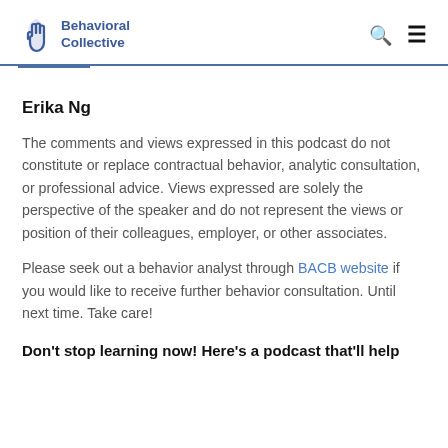Behavioral Collective
Erika Ng
The comments and views expressed in this podcast do not constitute or replace contractual behavior, analytic consultation, or professional advice. Views expressed are solely the perspective of the speaker and do not represent the views or position of their colleagues, employer, or other associates.
Please seek out a behavior analyst through BACB website if you would like to receive further behavior consultation. Until next time. Take care!
Don't stop learning now! Here's a podcast that'll help